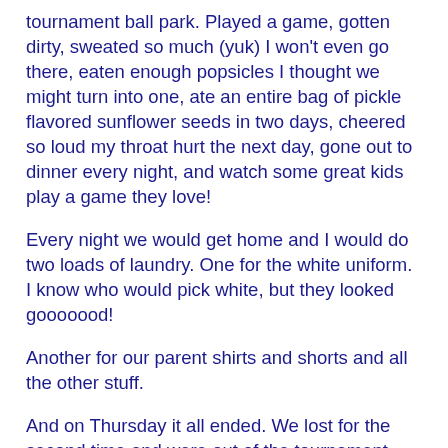tournament ball park. Played a game, gotten dirty, sweated so much (yuk) I won't even go there, eaten enough popsicles I thought we might turn into one, ate an entire bag of pickle flavored sunflower seeds in two days, cheered so loud my throat hurt the next day, gone out to dinner every night, and watch some great kids play a game they love!
Every night we would get home and I would do two loads of laundry. One for the white uniform. I know who would pick white, but they looked gooooood!
Another for our parent shirts and shorts and all the other stuff.
And on Thursday it all ended. We lost for the second time and were out of the tournament. We came in third, not to shabby. The boys played hard it just wasn't in the cards.
But Friday I was lost.
I didn't know how to act. I didn't have a uniform to wash and for the first time in a while I didn't have to be at the ball park